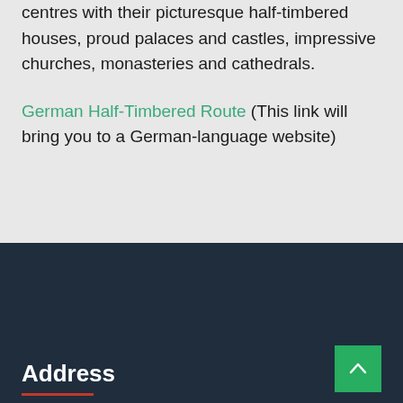centres with their picturesque half-timbered houses, proud palaces and castles, impressive churches, monasteries and cathedrals.
German Half-Timbered Route (This link will bring you to a German-language website)
Address